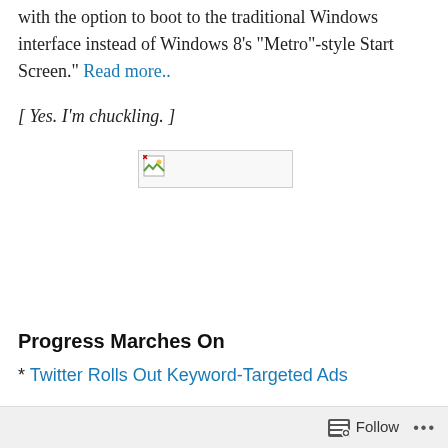...Microsoft is reportedly building new version of Windows with the option to boot to the traditional Windows interface instead of Windows 8's "Metro"-style Start Screen." Read more..
[ Yes. I'm chuckling. ]
[Figure (other): Broken image placeholder box with small image icon in top-left corner]
Progress Marches On
* Twitter Rolls Out Keyword-Targeted Ads
Follow ...